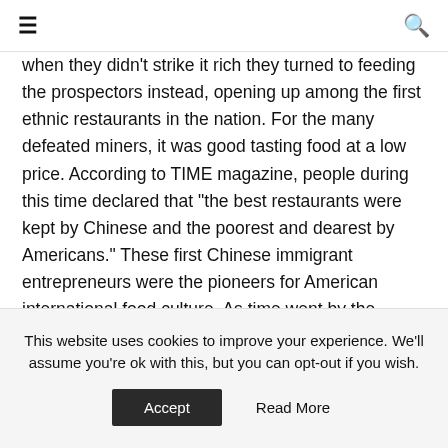≡  🔍
when they didn't strike it rich they turned to feeding the prospectors instead, opening up among the first ethnic restaurants in the nation. For the many defeated miners, it was good tasting food at a low price. According to TIME magazine, people during this time declared that "the best restaurants were kept by Chinese and the poorest and dearest by Americans." These first Chinese immigrant entrepreneurs were the pioneers for American international food culture. As time went by the Chinese menus adapted to American tastes, and on the reverse, more Americans embraced
This website uses cookies to improve your experience. We'll assume you're ok with this, but you can opt-out if you wish.
Accept   Read More